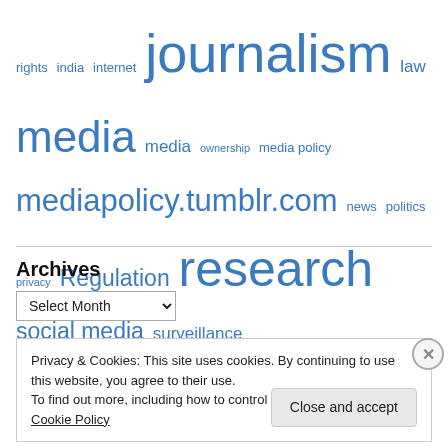rights india internet journalism law media media ownership media policy mediapolicy.tumblr.com news politics privacy Regulation research social media surveillance Technology UK usa Video WITNESS
Archives
Select Month
Privacy & Cookies: This site uses cookies. By continuing to use this website, you agree to their use. To find out more, including how to control cookies, see here: Cookie Policy
Close and accept